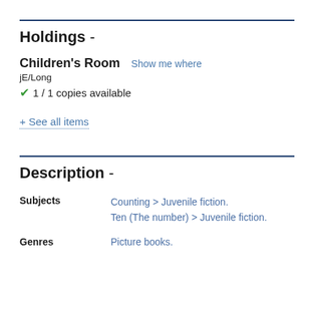Holdings -
Children's Room  Show me where
jE/Long
✔ 1 / 1 copies available
+ See all items
Description -
Subjects  Counting > Juvenile fiction. Ten (The number) > Juvenile fiction.
Genres  Picture books.